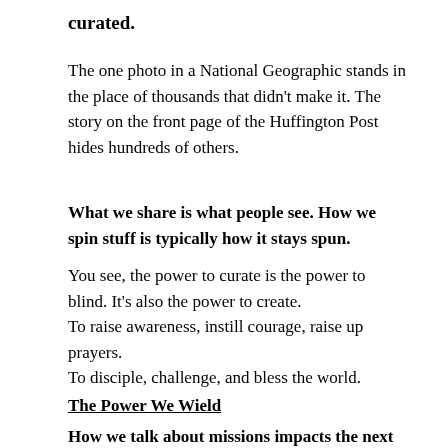curated.
The one photo in a National Geographic stands in the place of thousands that didn't make it. The story on the front page of the Huffington Post hides hundreds of others.
What we share is what people see. How we spin stuff is typically how it stays spun.
You see, the power to curate is the power to blind. It's also the power to create.
To raise awareness, instill courage, raise up prayers.
To disciple, challenge, and bless the world.
The Power We Wield
How we talk about missions impacts the next